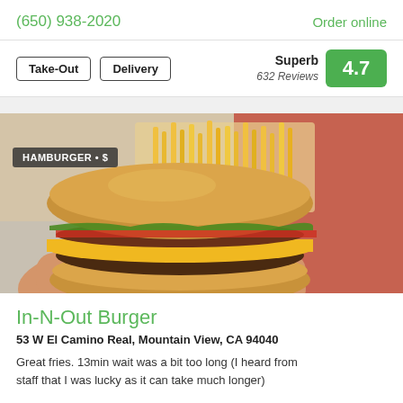(650) 938-2020  Order online
Take-Out  Delivery  Superb  632 Reviews  4.7
[Figure (photo): Close-up photo of a cheeseburger with melted cheese and a beef patty held in hand, with french fries in red trays in the background. Tag reads: HAMBURGER • $]
In-N-Out Burger
53 W El Camino Real, Mountain View, CA 94040
Great fries. 13min wait was a bit too long (I heard from staff that I was lucky as it can take much longer)